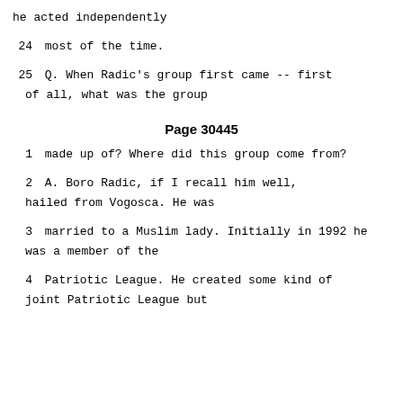he acted independently
24    most of the time.
25        Q.    When Radic's group first came -- first of all, what was the group
Page 30445
1        made up of?  Where did this group come from?
2        A.    Boro Radic, if I recall him well, hailed from Vogosca.  He was
3        married to a Muslim lady.  Initially in 1992 he was a member of the
4        Patriotic League.  He created some kind of joint Patriotic League but